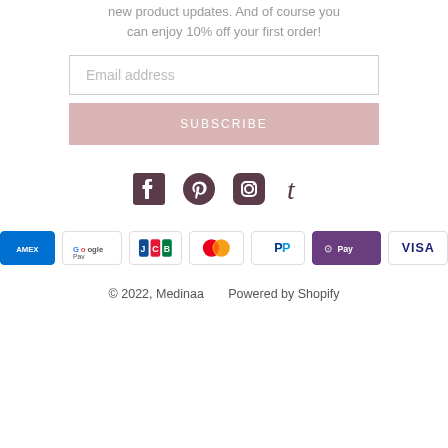new product updates. And of course you can enjoy 10% off your first order!
Email address
SUBSCRIBE
[Figure (other): Social media icons: Facebook, Pinterest, Instagram, Tumblr]
[Figure (other): Payment method icons: American Express, Google Pay, JCB, Mastercard, PayPal, Apple Pay, Visa]
© 2022, Medinaa      Powered by Shopify